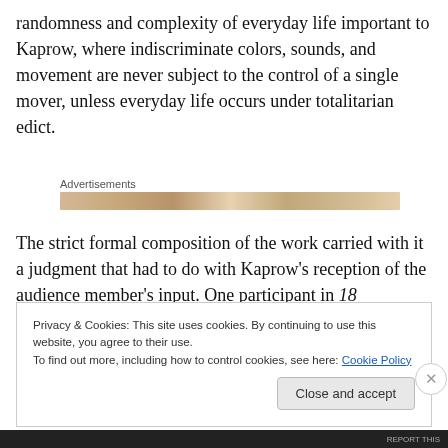randomness and complexity of everyday life important to Kaprow, where indiscriminate colors, sounds, and movement are never subject to the control of a single mover, unless everyday life occurs under totalitarian edict.
[Figure (other): Advertisements banner with label 'Advertisements' and a tan/beige colored banner graphic below it]
The strict formal composition of the work carried with it a judgment that had to do with Kaprow's reception of the audience member's input. One participant in 18
Privacy & Cookies: This site uses cookies. By continuing to use this website, you agree to their use.
To find out more, including how to control cookies, see here: Cookie Policy
Close and accept